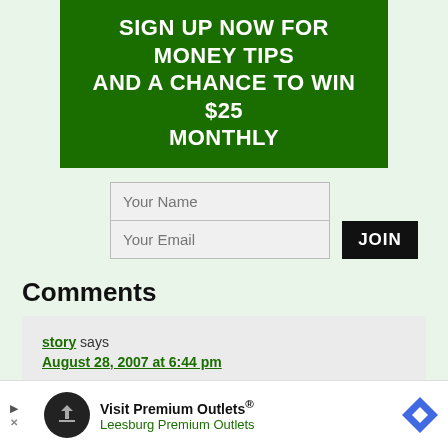[Figure (infographic): Dark green banner with white uppercase bold text: SIGN UP NOW FOR MONEY TIPS AND A CHANCE TO WIN $25 MONTHLY]
Your Name
Your Email
JOIN
Comments
story says
August 28, 2007 at 6:44 pm
[Figure (infographic): Advertisement banner: Visit Premium Outlets® Leesburg Premium Outlets with logo and arrow icon]